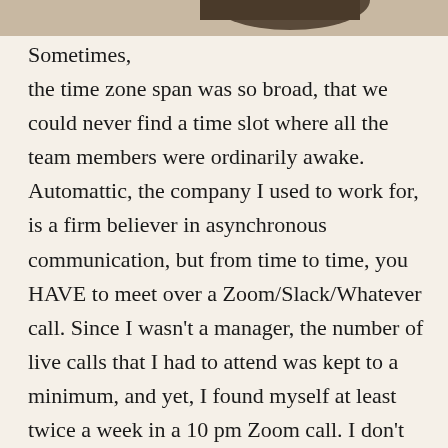[Figure (photo): Partial photo visible at the top of the page, showing what appears to be the bottom portion of a person or object, cropped at the top edge.]
Sometimes, the time zone span was so broad, that we could never find a time slot where all the team members were ordinarily awake. Automattic, the company I used to work for, is a firm believer in asynchronous communication, but from time to time, you HAVE to meet over a Zoom/Slack/Whatever call. Since I wasn't a manager, the number of live calls that I had to attend was kept to a minimum, and yet, I found myself at least twice a week in a 10 pm Zoom call. I don't know what about you, but my brain keeps working for at least two outs after log off.